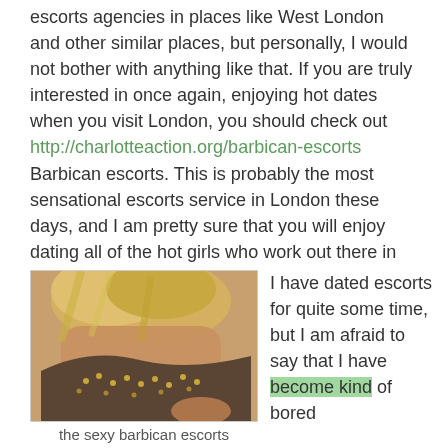escorts agencies in places like West London and other similar places, but personally, I would not bother with anything like that. If you are truly interested in once again, enjoying hot dates when you visit London, you should check out http://charlotteaction.org/barbican-escorts Barbican escorts. This is probably the most sensational escorts service in London these days, and I am pretty sure that you will enjoy dating all of the hot girls who work out there in the Barbican.
[Figure (photo): Close-up photo of a blonde woman from behind, wearing a jeweled/beaded outfit, with skin visible]
the sexy barbican escorts
I have dated escorts for quite some time, but I am afraid to say that I have become kind of bored